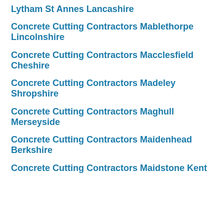Lytham St Annes Lancashire
Concrete Cutting Contractors Mablethorpe Lincolnshire
Concrete Cutting Contractors Macclesfield Cheshire
Concrete Cutting Contractors Madeley Shropshire
Concrete Cutting Contractors Maghull Merseyside
Concrete Cutting Contractors Maidenhead Berkshire
Concrete Cutting Contractors Maidstone Kent